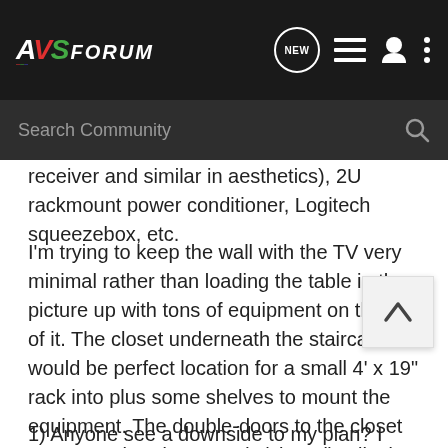AVS Forum — navigation bar with logo, NEW button, list icon, user icon, more icon
Search Community
receiver and similar in aesthetics), 2U rackmount power conditioner, Logitech squeezebox, etc.
I'm trying to keep the wall with the TV very minimal rather than loading the table in the picture up with tons of equipment on the top of it. The closet underneath the staircase would be perfect location for a small 4' x 19" rack into plus some shelves to mount the equipment. The double-doors to the closet are even already "vented" (slatted). All I'd need to run would be a long HDMI cable (50' or absolute worst case 75') plus the speaker wires.
1) Anyone see a downside to my plan? I assume HDMI v1.3a